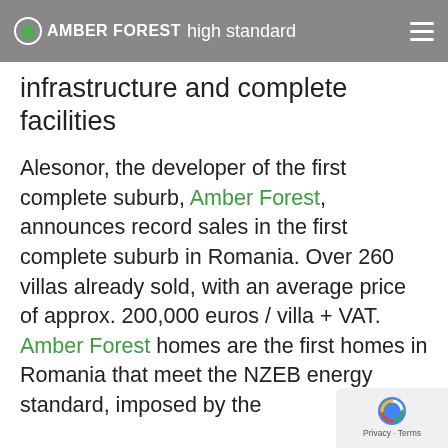AMBER FOREST — high standard infrastructure and complete facilities
Alesonor, the developer of the first complete suburb, Amber Forest, announces record sales in the first complete suburb in Romania. Over 260 villas already sold, with an average price of approx. 200,000 euros / villa + VAT. Amber Forest homes are the first homes in Romania that meet the NZEB energy standard, imposed by the